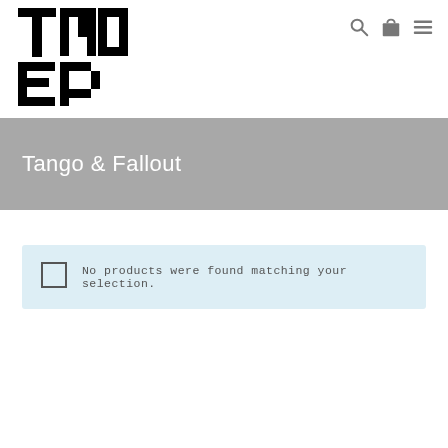[Figure (logo): TEMPO logo in black geometric lettering]
[Figure (infographic): Search, shopping bag, and hamburger menu icons in gray]
Tango & Fallout
No products were found matching your selection.